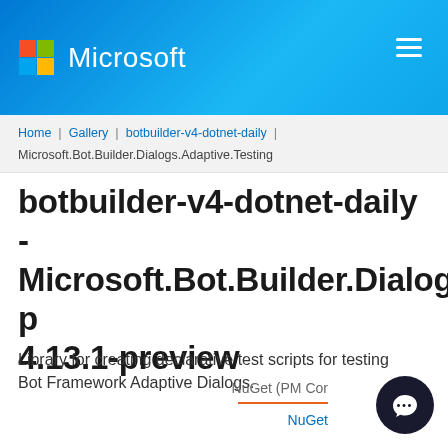Microsoft
Home | Gallery | botbuilder-v4-dotnet-daily | Microsoft.Bot.Builder.Dialogs.Adaptive.Testing
botbuilder-v4-dotnet-daily - Microsoft.Bot.Builder.Dialogs.Adaptive.Testing 4.13.1-preview
Library for creating declarative test scripts for testing Bot Framework Adaptive Dialogs.
NuGet (PM Co...
NuGet...